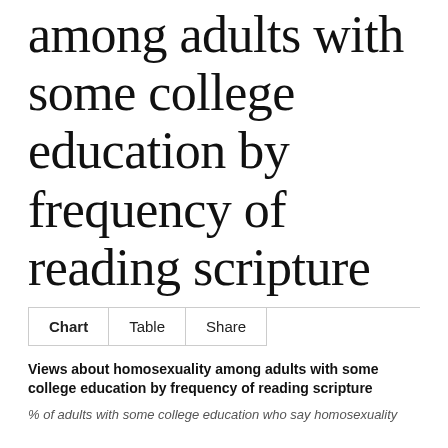among adults with some college education by frequency of reading scripture
Chart | Table | Share
Views about homosexuality among adults with some college education by frequency of reading scripture
% of adults with some college education who say homosexuality...